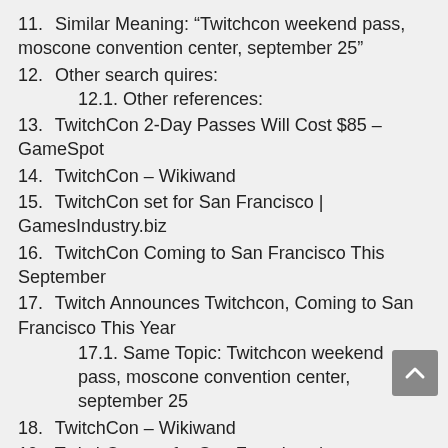11. Similar Meaning: “Twitchcon weekend pass, moscone convention center, september 25”
12. Other search quires:
12.1. Other references:
13. TwitchCon 2-Day Passes Will Cost $85 – GameSpot
14. TwitchCon – Wikiwand
15. TwitchCon set for San Francisco | GamesIndustry.biz
16. TwitchCon Coming to San Francisco This September
17. Twitch Announces Twitchcon, Coming to San Francisco This Year
17.1. Same Topic: Twitchcon weekend pass, moscone convention center, september 25
18. TwitchCon – Wikiwand
19. TwitchCon set for San Francisco |